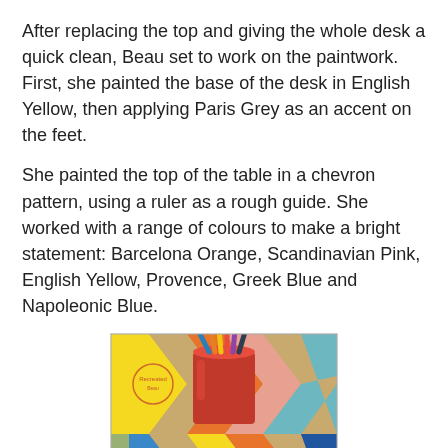After replacing the top and giving the whole desk a quick clean, Beau set to work on the paintwork. First, she painted the base of the desk in English Yellow, then applying Paris Grey as an accent on the feet.
She painted the top of the table in a chevron pattern, using a ruler as a rough guide. She worked with a range of colours to make a bright statement: Barcelona Orange, Scandinavian Pink, English Yellow, Provence, Greek Blue and Napoleonic Blue.
[Figure (photo): A colourful chevron-patterned desk top with a red cup holding pencils/markers, showing stripes of yellow, orange, pink, teal and blue in a zigzag pattern.]
When you lift the lid of the desk you find a charming surprise – the words "Work Hard, Be Kind written in lovely, freehand type.